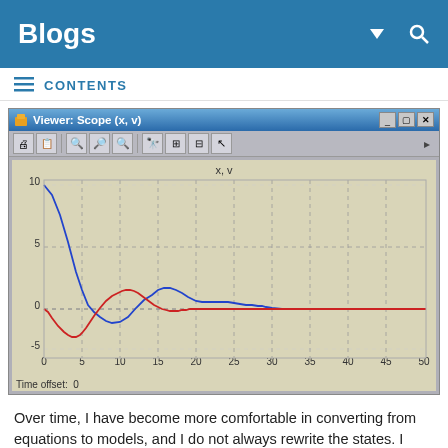Blogs
CONTENTS
[Figure (screenshot): MATLAB Simulink Scope viewer window showing two oscillating curves (blue: x, red: v) that dampen to zero over time from 0 to 50. Y-axis ranges from -5 to 10. Title: x, v. Time offset: 0.]
Over time, I have become more comfortable in converting from equations to models, and I do not always rewrite the states. I